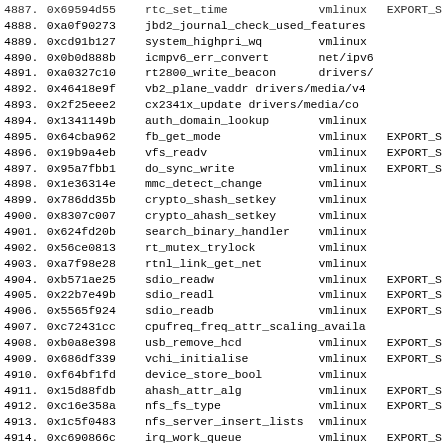| # | Address | Symbol | Module | Export |
| --- | --- | --- | --- | --- |
| 4887. | 0x69594d55 | rtc_set_time | vmlinux | EXPORT_S |
| 4888. | 0xa0f90273 | jbd2_journal_check_used_features |  |  |
| 4889. | 0xcd91b127 | system_highpri_wq | vmlinux |  |
| 4890. | 0x0b0d888b | icmpv6_err_convert | net/ipv6 |  |
| 4891. | 0xa0327c10 | rt2800_write_beacon | drivers/ |  |
| 4892. | 0x46418e9f | vb2_plane_vaddr | drivers/media/v4 |  |
| 4893. | 0x2f25eee2 | cx2341x_update | drivers/media/co |  |
| 4894. | 0x1341149b | auth_domain_lookup | vmlinux |  |
| 4895. | 0x64cba962 | fb_get_mode | vmlinux | EXPORT_S |
| 4896. | 0x19b9a4eb | vfs_readv | vmlinux | EXPORT_S |
| 4897. | 0x95a7fbb1 | do_sync_write | vmlinux | EXPORT_S |
| 4898. | 0x1e36314e | mmc_detect_change | vmlinux |  |
| 4899. | 0x786dd35b | crypto_shash_setkey | vmlinux |  |
| 4900. | 0x8307c007 | crypto_ahash_setkey | vmlinux |  |
| 4901. | 0x624fd20b | search_binary_handler | vmlinux |  |
| 4902. | 0x56ce0813 | rt_mutex_trylock | vmlinux |  |
| 4903. | 0xa7f98e28 | rtnl_link_get_net | vmlinux |  |
| 4904. | 0xb571ae25 | sdio_readw | vmlinux | EXPORT_S |
| 4905. | 0x22b7e49b | sdio_readl | vmlinux | EXPORT_S |
| 4906. | 0x5565f924 | sdio_readb | vmlinux | EXPORT_S |
| 4907. | 0xc72431cc | cpufreq_freq_attr_scaling_availa |  |  |
| 4908. | 0xb0a8e398 | usb_remove_hcd | vmlinux | EXPORT_S |
| 4909. | 0x686df339 | vchi_initialise | vmlinux | EXPORT_S |
| 4910. | 0xf64bf1fd | device_store_bool | vmlinux |  |
| 4911. | 0x15d88fdb | ahash_attr_alg | vmlinux | EXPORT_S |
| 4912. | 0xc16e358a | nfs_fs_type | vmlinux | EXPORT_S |
| 4913. | 0x1c5f0483 | nfs_server_insert_lists | vmlinux |  |
| 4914. | 0xc690866c | irq_work_queue | vmlinux | EXPORT_S |
| 4915. | 0x407126b1 | put_user_8 | vmlinux | EXPORT_S |